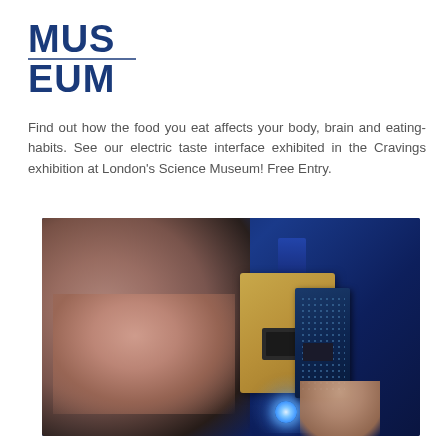[Figure (logo): MUS-EUM logo in dark blue, blocky sans-serif letters arranged in two lines reading MUS above EUM]
Find out how the food you eat affects your body, brain and eating-habits. See our electric taste interface exhibited in the Cravings exhibition at London's Science Museum! Free Entry.
[Figure (photo): A person holding up a small electronic circuit board / electric taste interface device close to their face. The device has a blue LED glowing, a golden PCB with an IC chip, a blue rectangular electrode at the top, and an Arduino-style microcontroller board attached. The background is deep blue.]